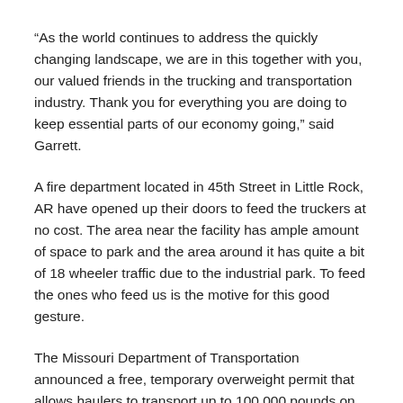“As the world continues to address the quickly changing landscape, we are in this together with you, our valued friends in the trucking and transportation industry. Thank you for everything you are doing to keep essential parts of our economy going,” said Garrett.
A fire department located in 45th Street in Little Rock, AR have opened up their doors to feed the truckers at no cost. The area near the facility has ample amount of space to park and the area around it has quite a bit of 18 wheeler traffic due to the industrial park. To feed the ones who feed us is the motive for this good gesture.
The Missouri Department of Transportation announced a free, temporary overweight permit that allows haulers to transport up to 100,000 pounds on any Missouri highway through April 30 to assist in the critical flow of essential goods during the COVID-19 crisis, including interstates, as long as certain criteria are met: